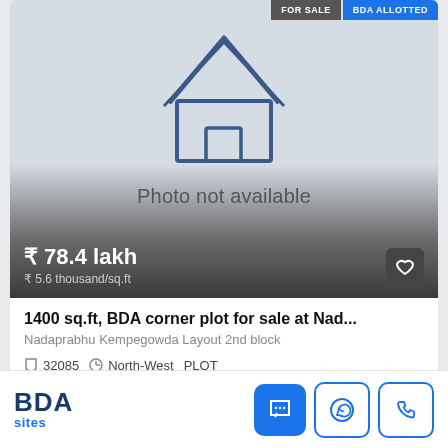[Figure (illustration): Property listing card showing photo not available placeholder with house icon, price ₹78.4 lakh, and BDA ALLOTTED tag]
₹ 78.4 lakh
₹ 5.6 thousand/sq.ft
1400 sq.ft, BDA corner plot for sale at Nad...
Nadaprabhu Kempegowda Layout 2nd block
32085  ⊙  North-West  PLOT
BDA sites